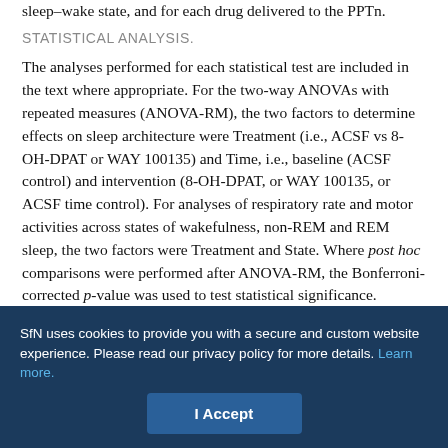sleep–wake state, and for each drug delivered to the PPTn.
STATISTICAL ANALYSIS.
The analyses performed for each statistical test are included in the text where appropriate. For the two-way ANOVAs with repeated measures (ANOVA-RM), the two factors to determine effects on sleep architecture were Treatment (i.e., ACSF vs 8-OH-DPAT or WAY 100135) and Time, i.e., baseline (ACSF control) and intervention (8-OH-DPAT, or WAY 100135, or ACSF time control). For analyses of respiratory rate and motor activities across states of wakefulness, non-REM and REM sleep, the two factors were Treatment and State. Where post hoc comparisons were performed after ANOVA-RM, the Bonferroni-corrected p-value was used to test statistical significance. Differences were considered significant if the
SfN uses cookies to provide you with a secure and custom website experience. Please read our privacy policy for more details. Learn more.